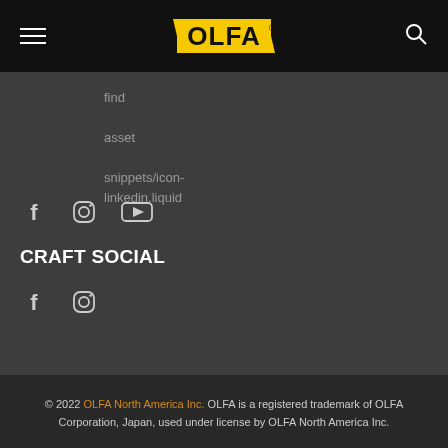OLFA (logo) — navigation header with hamburger menu and search icon
find
asset
snippets/icon-linkedin.liquid
[Figure (logo): Social media icons: Facebook, Instagram, YouTube]
CRAFT SOCIAL
[Figure (logo): Social media icons: Facebook, Instagram]
© 2022 OLFA North America Inc. OLFA is a registered trademark of OLFA Corporation, Japan, used under license by OLFA North America Inc.